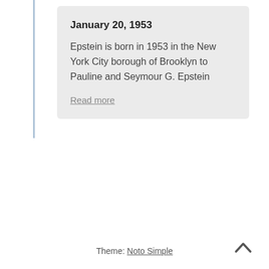January 20, 1953
Epstein is born in 1953 in the New York City borough of Brooklyn to Pauline and Seymour G. Epstein
Read more
Theme: Noto Simple